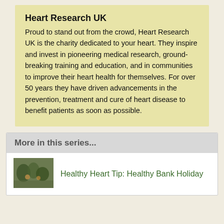Heart Research UK
Proud to stand out from the crowd, Heart Research UK is the charity dedicated to your heart. They inspire and invest in pioneering medical research, ground-breaking training and education, and in communities to improve their heart health for themselves. For over 50 years they have driven advancements in the prevention, treatment and cure of heart disease to benefit patients as soon as possible.
More in this series...
Healthy Heart Tip: Healthy Bank Holiday